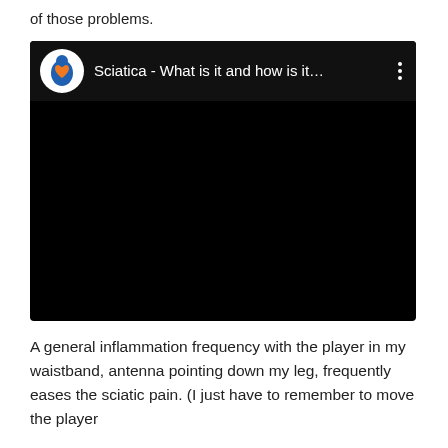of those problems.
[Figure (screenshot): Embedded video player with black background showing a video titled 'Sciatica - What is it and how is it...' with a logo icon of a person with a heart and three-dot menu.]
A general inflammation frequency with the player in my waistband, antenna pointing down my leg, frequently eases the sciatic pain. (I just have to remember to move the player